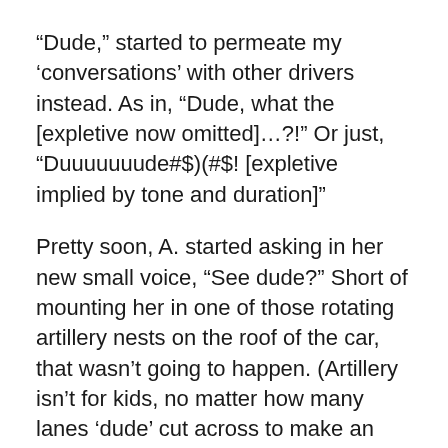“Dude,” started to permeate my ‘conversations’ with other drivers instead. As in, “Dude, what the [expletive now omitted]…?!” Or just, “Duuuuuuude#$)(#$! [expletive implied by tone and duration]”
Pretty soon, A. started asking in her new small voice, “See dude?” Short of mounting her in one of those rotating artillery nests on the roof of the car, that wasn’t going to happen. (Artillery isn’t for kids, no matter how many lanes ‘dude’ cut across to make an illegal turn.)
As her syntax evolved, her question did too: “Where’s ‘dude’?”
She’s lagging in her understanding of exactly how one should drive a car in heavy traffic (my way) and how rage can be compressed into sarcastic asides, but I applaud